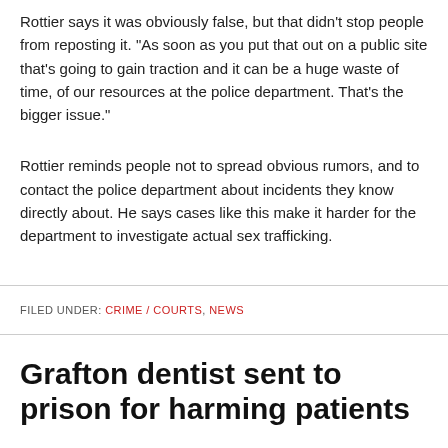Rottier says it was obviously false, but that didn't stop people from reposting it.  "As soon as you put that out on a public site that's going to gain traction and it can be a huge waste of time, of our resources at the police department. That's the bigger issue."
Rottier reminds people not to spread obvious rumors, and to contact the police department about incidents they know directly about.  He says cases like this make it harder for the department to investigate actual sex trafficking.
FILED UNDER: CRIME / COURTS, NEWS
Grafton dentist sent to prison for harming patients